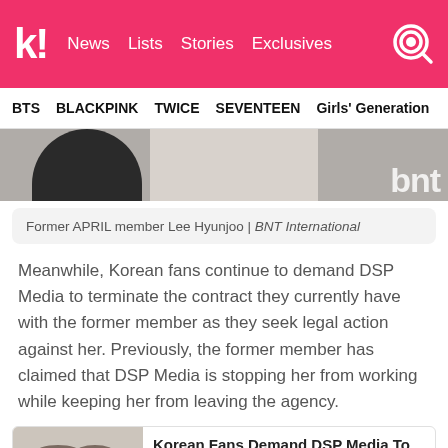k! News  Lists  Stories  Exclusives
BTS  BLACKPINK  TWICE  SEVENTEEN  Girls' Generation
[Figure (photo): Partial photo of former APRIL member Lee Hyunjoo with BNT International watermark]
Former APRIL member Lee Hyunjoo | BNT International
Meanwhile, Korean fans continue to demand DSP Media to terminate the contract they currently have with the former member as they seek legal action against her. Previously, the former member has claimed that DSP Media is stopping her from working while keeping her from leaving the agency.
[Figure (photo): Thumbnail photo of a woman's face for related article: Korean Fans Demand DSP Media To Terminate Contract]
Korean Fans Demand DSP Media To Terminate Contract